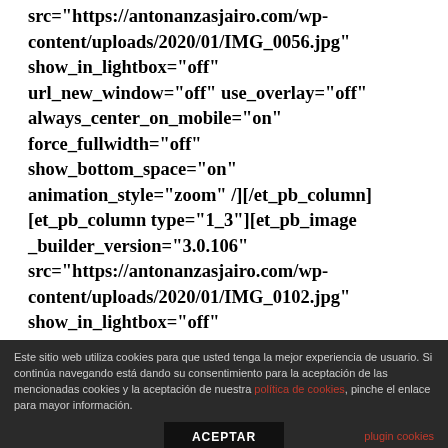src="https://antonanzasjairo.com/wp-content/uploads/2020/01/IMG_0056.jpg" show_in_lightbox="off" url_new_window="off" use_overlay="off" always_center_on_mobile="on" force_fullwidth="off" show_bottom_space="on" animation_style="zoom" /][/et_pb_column][et_pb_column type="1_3"][et_pb_image _builder_version="3.0.106" src="https://antonanzasjairo.com/wp-content/uploads/2020/01/IMG_0102.jpg" show_in_lightbox="off"
Este sitio web utiliza cookies para que usted tenga la mejor experiencia de usuario. Si continúa navegando está dando su consentimiento para la aceptación de las mencionadas cookies y la aceptación de nuestra política de cookies, pinche el enlace para mayor información.